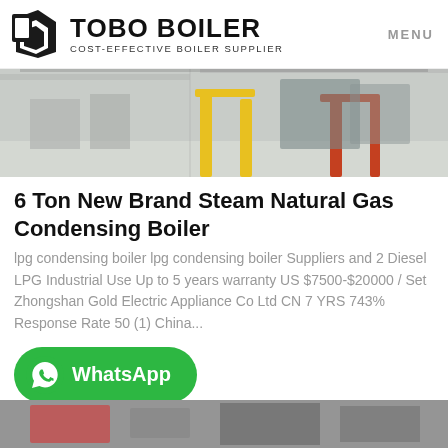TOBO BOILER COST-EFFECTIVE BOILER SUPPLIER | MENU
[Figure (photo): Industrial boiler facility interior showing yellow metal pipe supports and equipment on a polished floor]
6 Ton New Brand Steam Natural Gas Condensing Boiler
lpg condensing boiler lpg condensing boiler Suppliers and 2 Diesel LPG Industrial Use Up to 5 years warranty US $7500-$20000 / Set Zhongshan Gold Electric Appliance Co Ltd CN 7 YRS 743% Response Rate 50 (1) China...
[Figure (other): WhatsApp contact button - green rounded rectangle with WhatsApp logo and text]
[Figure (photo): Partial view of industrial boiler equipment at bottom of page]